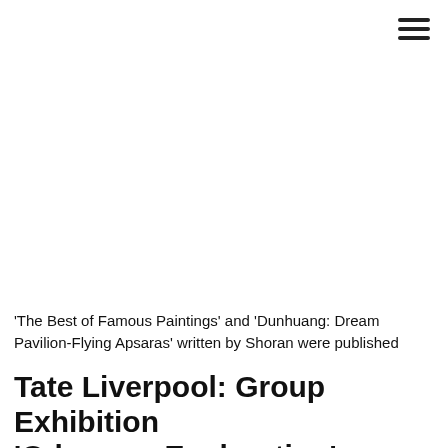[Figure (other): Hamburger menu icon (three horizontal lines) in top-right corner]
'The Best of Famous Paintings' and 'Dunhuang: Dream Pavilion-Flying Apsaras' written by Shoran were published
Tate Liverpool: Group Exhibition 'Odyssey: Exploration' with workshops in Tate Liverpool